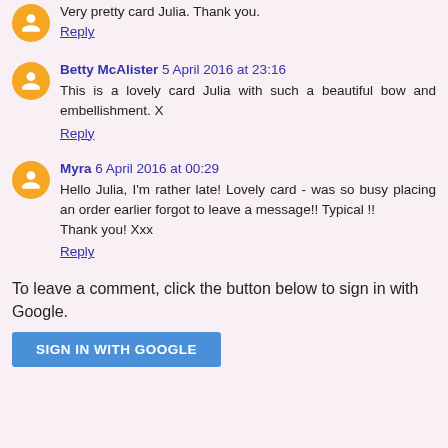Very pretty card Julia. Thank you.
Reply
Betty McAlister  5 April 2016 at 23:16
This is a lovely card Julia with such a beautiful bow and embellishment. X
Reply
Myra  6 April 2016 at 00:29
Hello Julia, I'm rather late! Lovely card - was so busy placing an order earlier forgot to leave a message!! Typical !!
Thank you! Xxx
Reply
To leave a comment, click the button below to sign in with Google.
SIGN IN WITH GOOGLE